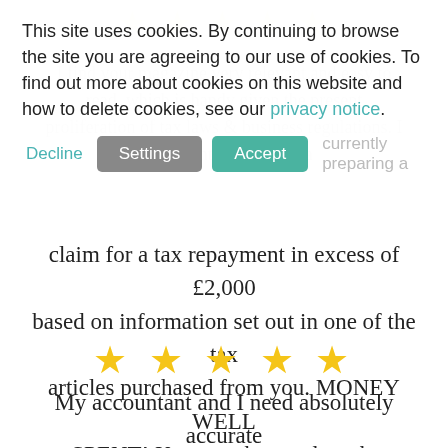[Figure (other): Five gold star rating icons at top of page (partially visible, faded behind cookie banner)]
I find your magazine very relevant and easy to read, which is handy given the present proliferation of tax laws & business regulations. I am currently preparing a claim for a tax repayment in excess of £2,000 based on information set out in one of the tax articles purchased from you. MONEY WELL SPENT! Keep up the good work.
~Peter Barnett, Business Owner~
This site uses cookies. By continuing to browse the site you are agreeing to our use of cookies. To find out more about cookies on this website and how to delete cookies, see our privacy notice.
Decline   Settings   Accept
[Figure (other): Five gold star rating icons]
My accountant and I need absolutely accurate and the most up-to-date advice that we can